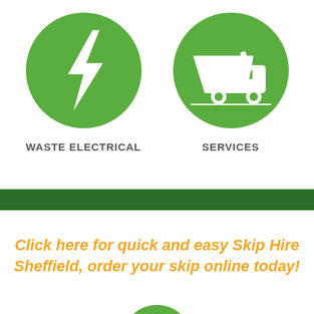[Figure (illustration): Green circle icon with white lightning bolt symbol representing waste electrical services]
WASTE ELECTRICAL
[Figure (illustration): Green circle icon with white skip/waste truck symbol representing skip hire services]
SERVICES
[Figure (illustration): Dark green horizontal banner/divider band]
Click here for quick and easy Skip Hire Sheffield, order your skip online today!
[Figure (illustration): Partially visible green badge/seal with stars at the bottom of the page]